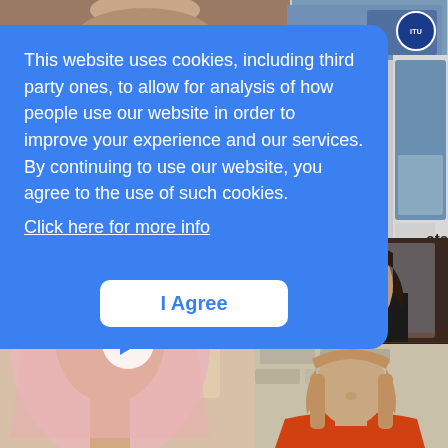[Figure (screenshot): Top strip with video call thumbnails - person in top left and ITU logo badge on top right]
This website uses cookies, including third party ones, to allow for analysis of how people use our website in order to improve your experience and our services. By continuing to use our website, you agree to the use of such cookies.
Click here for more info
I Agree
[Figure (screenshot): Video call screenshot showing three women - one wearing a hijab in main view with play button overlay, one woman with glasses in top right panel, and one woman with orange top in bottom right panel. 'Com' label visible in top left.]